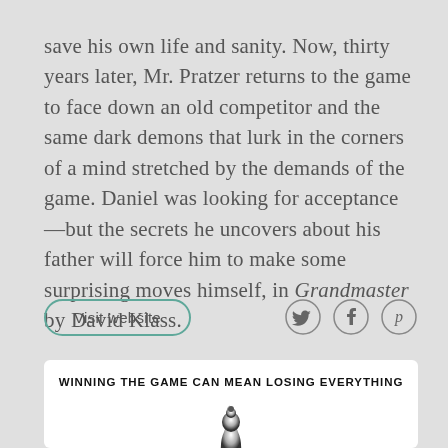save his own life and sanity. Now, thirty years later, Mr. Pratzer returns to the game to face down an old competitor and the same dark demons that lurk in the corners of a mind stretched by the demands of the game. Daniel was looking for acceptance—but the secrets he uncovers about his father will force him to make some surprising moves himself, in Grandmaster by David Klass.
Visit website
[Figure (other): Social media icons: Twitter (bird), Facebook (f), Pinterest (p)]
WINNING THE GAME CAN MEAN LOSING EVERYTHING
[Figure (illustration): Black and white image of a chess piece (appears to be a bishop or queen) silhouetted against a light background]